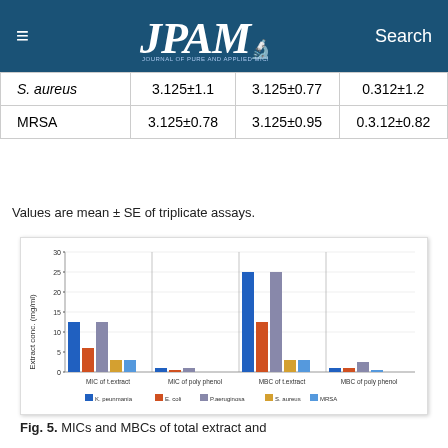JPAM — Journal of Pure and Applied Microbiology | Search
|  | Col1 | Col2 | Col3 |
| --- | --- | --- | --- |
| S. aureus | 3.125±1.1 | 3.125±0.77 | 0.312±1.2 |
| MRSA | 3.125±0.78 | 3.125±0.95 | 0.3.12±0.82 |
Values are mean ± SE of triplicate assays.
[Figure (grouped-bar-chart): MICs and MBCs of total extract and polyphenol]
Fig. 5. MICs and MBCs of total extract and